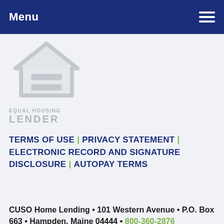Menu
[Figure (logo): Equal Housing Lender logo with house icon and equal sign, with text EQUAL HOUSING LENDER below]
TERMS OF USE | PRIVACY STATEMENT | ELECTRONIC RECORD AND SIGNATURE DISCLOSURE | AUTOPAY TERMS
CUSO Home Lending • 101 Western Avenue • P.O. Box 663 • Hampden, Maine 04444 • 800-360-2876